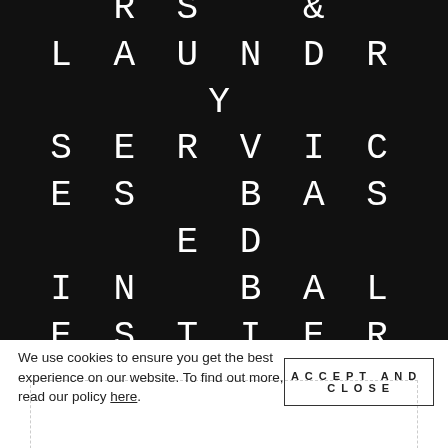OTHER DRY CLEANERS & LAUNDRY SERVICES BASED IN BALESTIER
BIG MAMA LAUNDRY & DRY CLEANING PLAZA SINGAPURA
We use cookies to ensure you get the best experience on our website. To find out more, read our policy here.
ACCEPT AND CLOSE